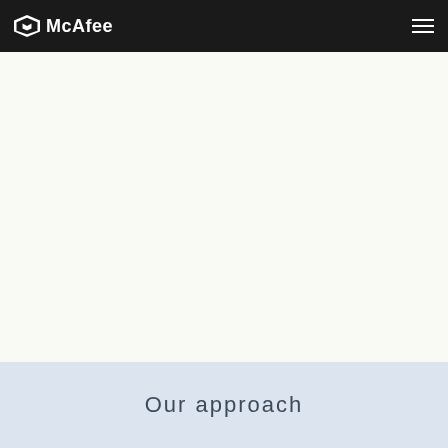McAfee
[Figure (other): Large white/cream blank area serving as main content region below the McAfee navigation bar]
Our approach